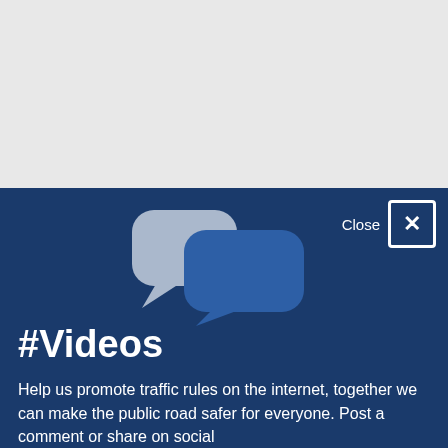[Figure (screenshot): Screenshot of a modal dialog with dark blue background. Shows two overlapping speech bubble icons (light gray behind, dark blue in front), a 'Close X' button in top right. Contains '#Videos' title and partial text about promoting traffic rules.]
#Videos
Help us promote traffic rules on the internet, together we can make the public road safer for everyone. Post a comment or share on social